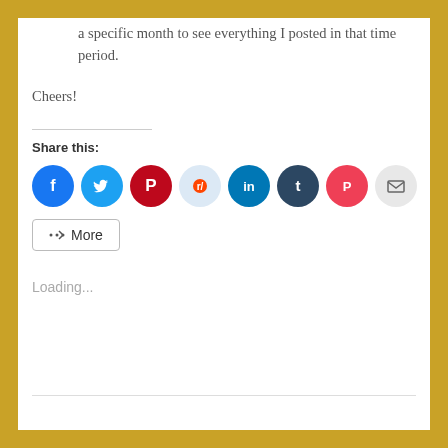a specific month to see everything I posted in that time period.
Cheers!
Share this:
[Figure (infographic): Social sharing buttons: Facebook (blue), Twitter (light blue), Pinterest (red), Reddit (light blue), LinkedIn (dark blue), Tumblr (dark navy), Pocket (red/pink), Email (gray)]
More
Loading...